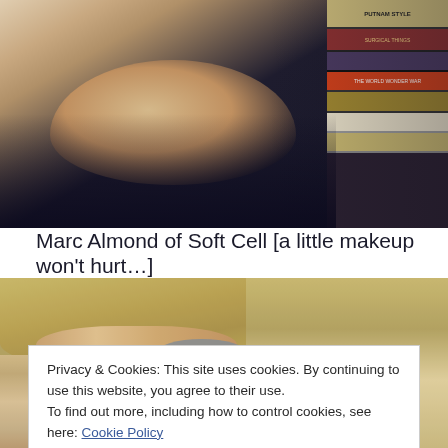[Figure (photo): Photo of Marc Almond of Soft Cell, a person in dark clothing visible from shoulders up with books visible in the background on the right side]
Marc Almond of Soft Cell [a little makeup won't hurt…]
[Figure (photo): Close-up photo of a person wearing a wide-brimmed tan/beige hat pulled low over their face, showing one eye peeking beneath the brim with blonde hair visible]
Privacy & Cookies: This site uses cookies. By continuing to use this website, you agree to their use.
To find out more, including how to control cookies, see here: Cookie Policy
Close and accept